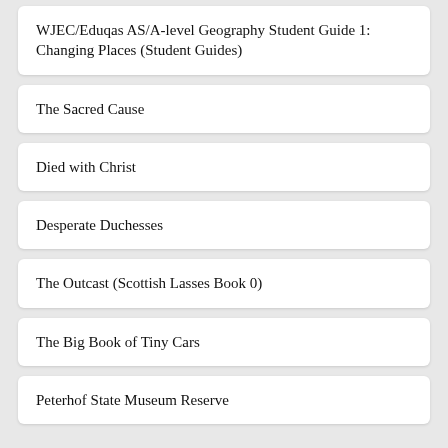WJEC/Eduqas AS/A-level Geography Student Guide 1: Changing Places (Student Guides)
The Sacred Cause
Died with Christ
Desperate Duchesses
The Outcast (Scottish Lasses Book 0)
The Big Book of Tiny Cars
Peterhof State Museum Reserve